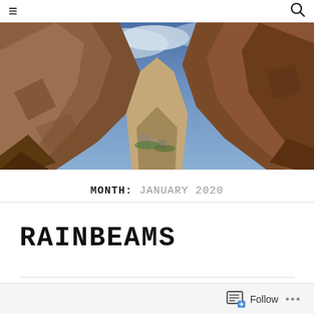≡  [search icon]
[Figure (photo): Canyon landscape with rocky cliffs on both sides, blue sky with clouds in the background, and a valley with some green vegetation and buildings visible in the distance.]
MONTH: JANUARY 2020
RAINBEAMS
ON JANUARY 31, 2020 / BY BLINDZANYGIRL / 1 COMMENT